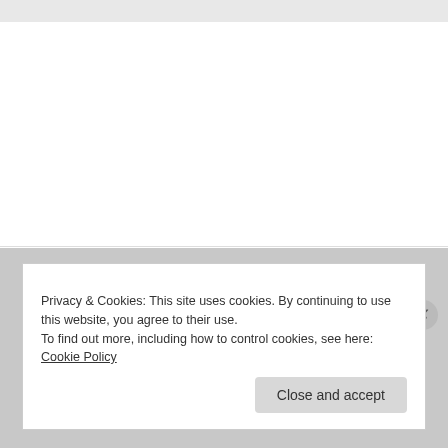JR on November 14, 2012 at 9:14 pm
Amen! Winter? Bring it on.
↵ Reply
Privacy & Cookies: This site uses cookies. By continuing to use this website, you agree to their use.
To find out more, including how to control cookies, see here: Cookie Policy
Close and accept